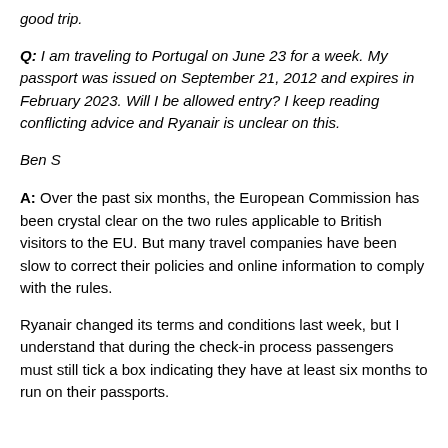good trip.
Q: I am traveling to Portugal on June 23 for a week. My passport was issued on September 21, 2012 and expires in February 2023. Will I be allowed entry? I keep reading conflicting advice and Ryanair is unclear on this.
Ben S
A: Over the past six months, the European Commission has been crystal clear on the two rules applicable to British visitors to the EU. But many travel companies have been slow to correct their policies and online information to comply with the rules.
Ryanair changed its terms and conditions last week, but I understand that during the check-in process passengers must still tick a box indicating they have at least six months to run on their passports.